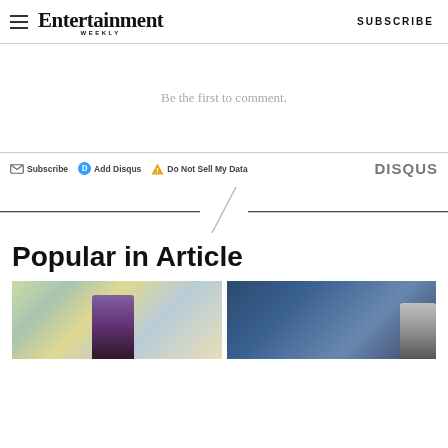Entertainment Weekly - SUBSCRIBE
Be the first to comment.
Subscribe  Add Disqus  Do Not Sell My Data  DISQUS
Popular in Article
[Figure (photo): Two side-by-side article thumbnail images below the Popular in Article section header]